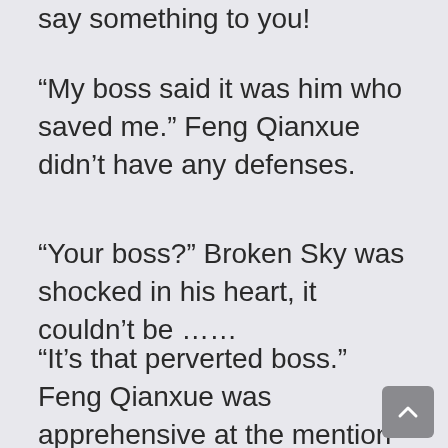say something to you!
“My boss said it was him who saved me.” Feng Qianxue didn’t have any defenses.
“Your boss?” Broken Sky was shocked in his heart, it couldn’t be ……
“It’s that perverted boss.” Feng Qianxue was apprehensive at the mention of Night Zhen Ting, “My colleague said he saw him hug me and leave through the back door, I even asked him today, he said he saved me…… but the person I woke